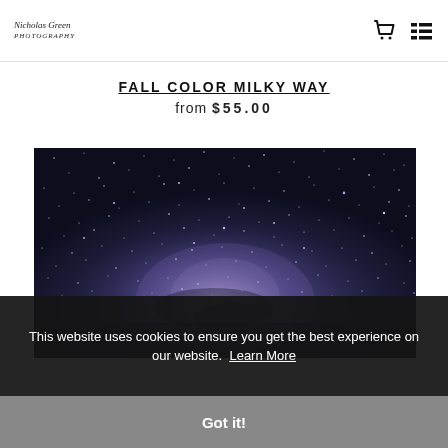Nicholas Green Photography logo, cart icon, menu icon
FALL COLOR MILKY WAY
from $55.00
[Figure (photo): Night sky photograph showing the Milky Way galaxy with stars and nebula in deep blue and purple tones]
This website uses cookies to ensure you get the best experience on our website. Learn More
Got it!